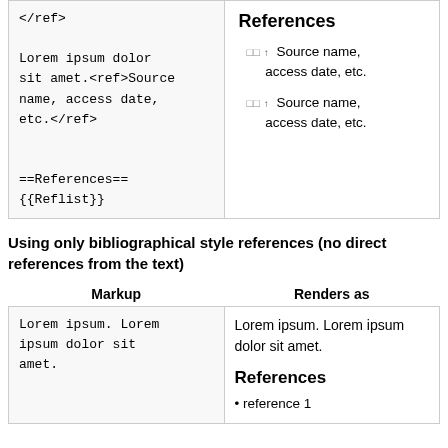| Markup | Renders as |
| --- | --- |
| </ref>

Lorem ipsum dolor sit amet.<ref>Source name, access date, etc.</ref>

==References==
{{Reflist}} | References
□□ ↑ Source name, access date, etc.
□□ ↑ Source name, access date, etc. |
Using only bibliographical style references (no direct references from the text)
| Markup | Renders as |
| --- | --- |
| Lorem ipsum. Lorem ipsum dolor sit amet. | Lorem ipsum. Lorem ipsum dolor sit amet.
References
• reference 1 |